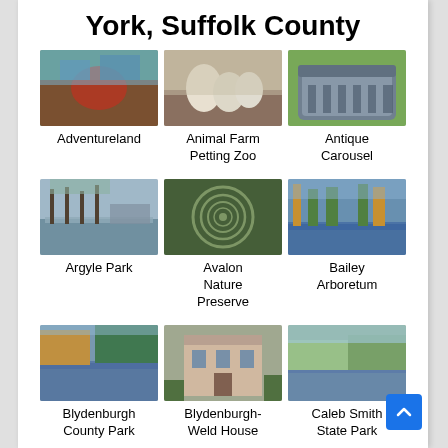York, Suffolk County
[Figure (photo): Aerial view of Adventureland amusement park]
Adventureland
[Figure (photo): Pigs at Animal Farm Petting Zoo]
Animal Farm Petting Zoo
[Figure (photo): Antique Carousel building exterior]
Antique Carousel
[Figure (photo): Argyle Park waterfront scene]
Argyle Park
[Figure (photo): Avalon Nature Preserve aerial stone labyrinth]
Avalon Nature Preserve
[Figure (photo): Bailey Arboretum pond and trees]
Bailey Arboretum
[Figure (photo): Blydenburgh County Park lake with fall foliage]
Blydenburgh County Park
[Figure (photo): Blydenburgh-Weld House historic building]
Blydenburgh-Weld House
[Figure (photo): Caleb Smith State Park pond]
Caleb Smith State Park